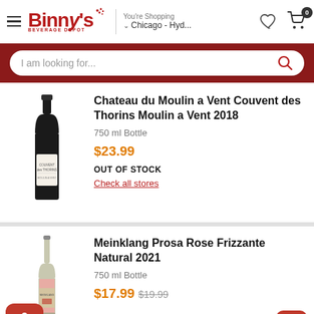Binny's Beverage Depot — You're Shopping Chicago - Hyd...
I am looking for...
Chateau du Moulin a Vent Couvent des Thorins Moulin a Vent 2018
750 ml Bottle
$23.99
OUT OF STOCK
Check all stores
Meinklang Prosa Rose Frizzante Natural 2021
750 ml Bottle
$17.99  $19.99